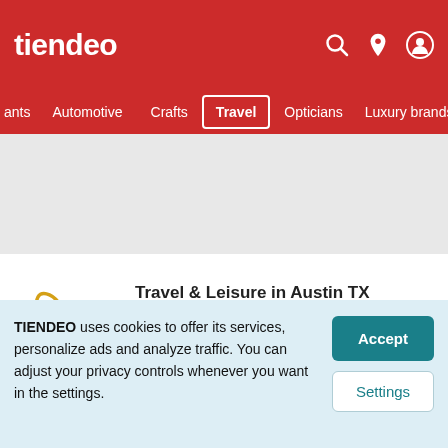tiendeo
ants  Automotive  Crafts  Travel  Opticians  Luxury brands
Travel & Leisure in Austin TX
Create alert
View stores
TIENDEO uses cookies to offer its services, personalize ads and analyze traffic. You can adjust your privacy controls whenever you want in the settings.
Accept
Settings